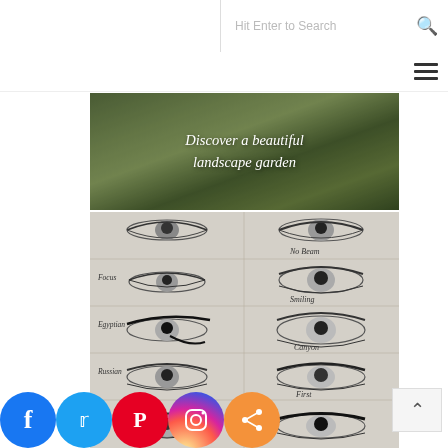Hit Enter to Search
[Figure (photo): Landscape garden photo with text overlay 'Discover a beautiful landscape garden']
[Figure (illustration): Pencil drawings of various eye makeup styles labeled: Focus, No Beam, Smiling, Egyptian, Canyon, Russian, First]
[Figure (other): Social media sharing icons: Facebook, Twitter, Pinterest, Instagram, Share]